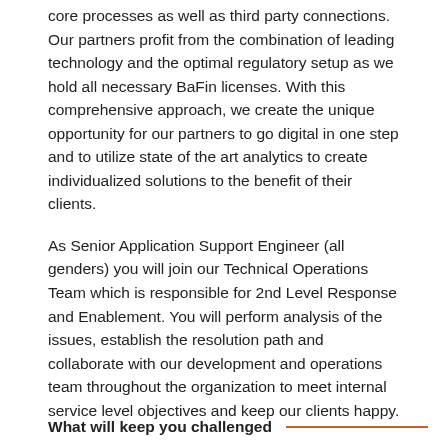core processes as well as third party connections. Our partners profit from the combination of leading technology and the optimal regulatory setup as we hold all necessary BaFin licenses. With this comprehensive approach, we create the unique opportunity for our partners to go digital in one step and to utilize state of the art analytics to create individualized solutions to the benefit of their clients.
As Senior Application Support Engineer (all genders) you will join our Technical Operations Team which is responsible for 2nd Level Response and Enablement. You will perform analysis of the issues, establish the resolution path and collaborate with our development and operations team throughout the organization to meet internal service level objectives and keep our clients happy.
What will keep you challenged